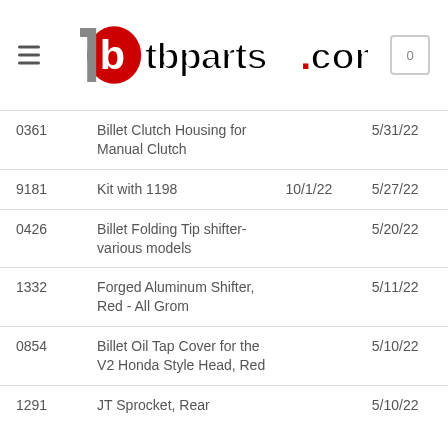tbparts.com
| SKU | Name | Date1 | Date2 |
| --- | --- | --- | --- |
| 0361 | Billet Clutch Housing for Manual Clutch |  | 5/31/22 |
| 9181 | Kit with 1198 | 10/1/22 | 5/27/22 |
| 0426 | Billet Folding Tip shifter- various models |  | 5/20/22 |
| 1332 | Forged Aluminum Shifter, Red - All Grom |  | 5/11/22 |
| 0854 | Billet Oil Tap Cover for the V2 Honda Style Head, Red |  | 5/10/22 |
| 1291 | JT Sprocket, Rear |  | 5/10/22 |